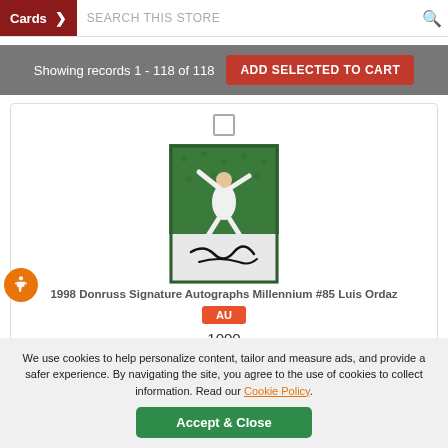Cards  SEARCH THIS STORE
Showing records 1 - 118 of 118
[Figure (photo): Trading card image of 1998 Donruss Signature Autographs Millennium #85 Luis Ordaz, showing a baseball player fielding, with an autograph on the card]
1998 Donruss Signature Autographs Millennium #85 Luis Ordaz
AU
1000
We use cookies to help personalize content, tailor and measure ads, and provide a safer experience. By navigating the site, you agree to the use of cookies to collect information. Read our Cookie Policy.
Accept & Close